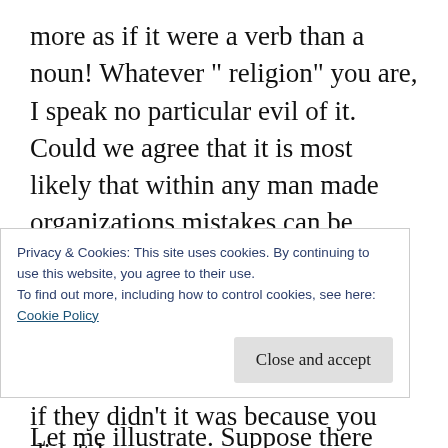more as if it were a verb than a noun! Whatever “ religion” you are, I speak no particular evil of it. Could we agree that it is most likely that within any man made organizations mistakes can be made. (We are not discussing the over arching body of Christ here, but obviously even the apostles blew it and made some mistakes.)
Let me illustrate. Suppose there was a time you were taught to pray for others and especially the sick and so you did. Let’s also suppose you
Privacy & Cookies: This site uses cookies. By continuing to use this website, you agree to their use.
To find out more, including how to control cookies, see here:
Cookie Policy
Close and accept
if they didn’t it was because you didn’t have